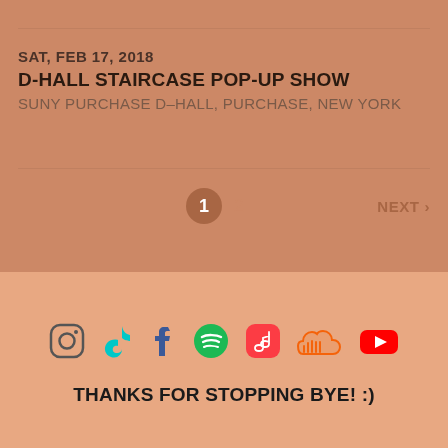SAT, FEB 17, 2018
D-HALL STAIRCASE POP-UP SHOW
SUNY PURCHASE D-HALL, PURCHASE, NEW YORK
1  2  NEXT >
[Figure (infographic): Row of social media icons: Instagram, TikTok, Facebook, Spotify, Apple Music, SoundCloud, YouTube]
THANKS FOR STOPPING BYE! :)